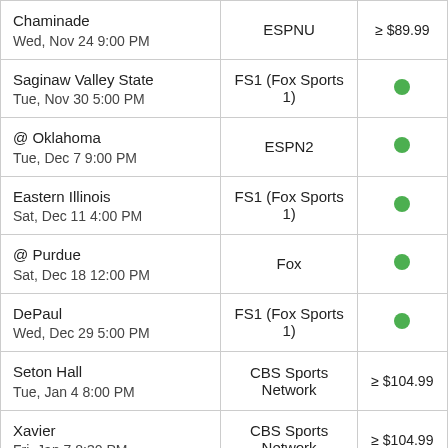| Game | Network | Price |
| --- | --- | --- |
| Chaminade
Wed, Nov 24 9:00 PM | ESPNU | ≥ $89.99 |
| Saginaw Valley State
Tue, Nov 30 5:00 PM | FS1 (Fox Sports 1) | ● |
| @ Oklahoma
Tue, Dec 7 9:00 PM | ESPN2 | ● |
| Eastern Illinois
Sat, Dec 11 4:00 PM | FS1 (Fox Sports 1) | ● |
| @ Purdue
Sat, Dec 18 12:00 PM | Fox | ● |
| DePaul
Wed, Dec 29 5:00 PM | FS1 (Fox Sports 1) | ● |
| Seton Hall
Tue, Jan 4 8:00 PM | CBS Sports Network | ≥ $104.99 |
| Xavier
Fri, Jan 7 8:30 PM | CBS Sports Network | ≥ $104.99 |
| @ Georgetown |  |  |